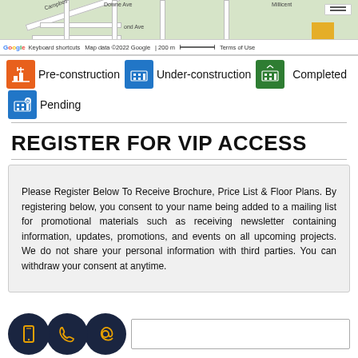[Figure (map): Google Maps street map snippet showing a neighborhood grid with roads, a small orange block, zoom controls, and the Google Maps footer with 'Keyboard shortcuts', 'Map data ©2022 Google', '200 m' scale bar, and 'Terms of Use'.]
Pre-construction   Under-construction
Completed   Pending
REGISTER FOR VIP ACCESS
Please Register Below To Receive Brochure, Price List & Floor Plans. By registering below, you consent to your name being added to a mailing list for promotional materials such as receiving newsletter containing information, updates, promotions, and events on all upcoming projects. We do not share your personal information with third parties. You can withdraw your consent at anytime.